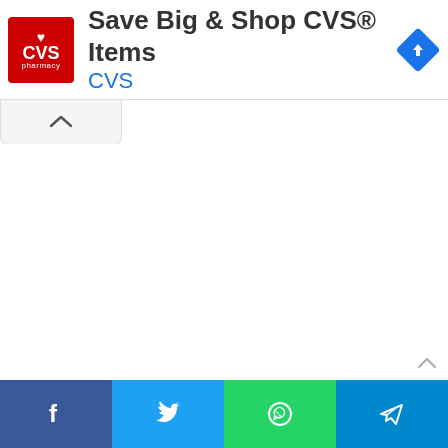[Figure (screenshot): CVS Pharmacy advertisement banner with red CVS logo, text 'Save Big & Shop CVS® Items' and brand name 'CVS' in blue, with a blue diamond navigation arrow icon on the right]
[Figure (screenshot): Collapse button (caret up) below the ad banner]
[Figure (screenshot): Social sharing bar at the bottom with Facebook (blue), Twitter (light blue), WhatsApp (green), and Telegram (blue) buttons]